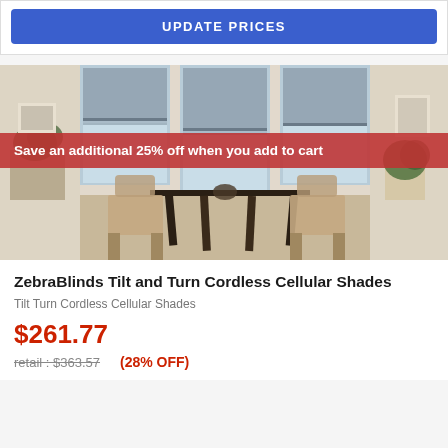UPDATE PRICES
[Figure (photo): A dining room with cellular shades on windows. A dark wooden table with chairs, plants on either side, natural light coming through bay windows with grey cellular shades. A red promotional banner overlays the image reading 'Save an additional 25% off when you add to cart'.]
ZebraBlinds Tilt and Turn Cordless Cellular Shades
Tilt Turn Cordless Cellular Shades
$261.77
retail : $363.57
(28% OFF)